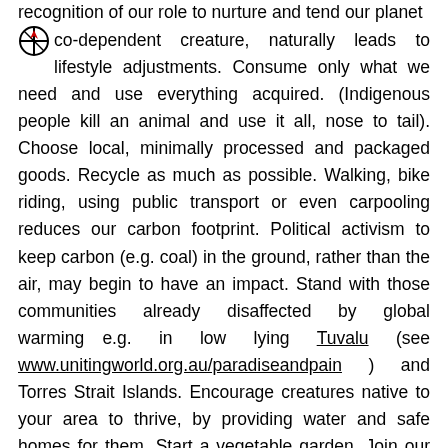recognition of our role to nurture and tend our planet co-dependent creature, naturally leads to lifestyle adjustments. Consume only what we need and use everything acquired. (Indigenous people kill an animal and use it all, nose to tail). Choose local, minimally processed and packaged goods. Recycle as much as possible. Walking, bike riding, using public transport or even carpooling reduces our carbon footprint. Political activism to keep carbon (e.g. coal) in the ground, rather than the air, may begin to have an impact. Stand with those communities already disaffected by global warming e.g. in low lying Tuvalu (see www.unitingworld.org.au/paradiseandpain ) and Torres Strait Islands. Encourage creatures native to your area to thrive, by providing water and safe homes for them. Start a vegetable garden. Join our walking groups!